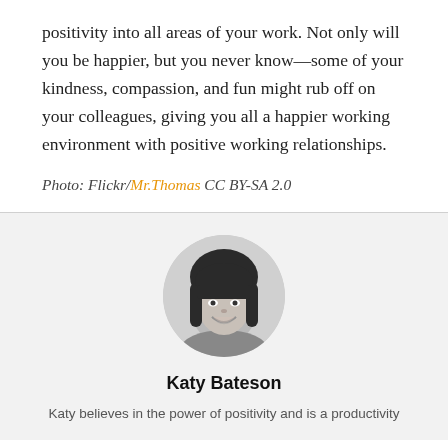positivity into all areas of your work. Not only will you be happier, but you never know—some of your kindness, compassion, and fun might rub off on your colleagues, giving you all a happier working environment with positive working relationships.
Photo: Flickr/Mr.Thomas CC BY-SA 2.0
[Figure (photo): Black and white circular portrait photo of Katy Bateson, a woman with dark hair and bangs, smiling]
Katy Bateson
Katy believes in the power of positivity and is a productivity